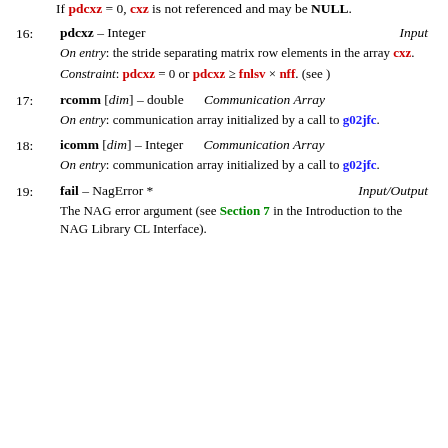If pdcxz = 0, cxz is not referenced and may be NULL.
16: pdcxz – Integer   Input
On entry: the stride separating matrix row elements in the array cxz.
Constraint: pdcxz = 0 or pdcxz >= fnlsv × nff. (see )
17: rcomm [dim] – double   Communication Array
On entry: communication array initialized by a call to g02jfc.
18: icomm [dim] – Integer   Communication Array
On entry: communication array initialized by a call to g02jfc.
19: fail – NagError *   Input/Output
The NAG error argument (see Section 7 in the Introduction to the NAG Library CL Interface).